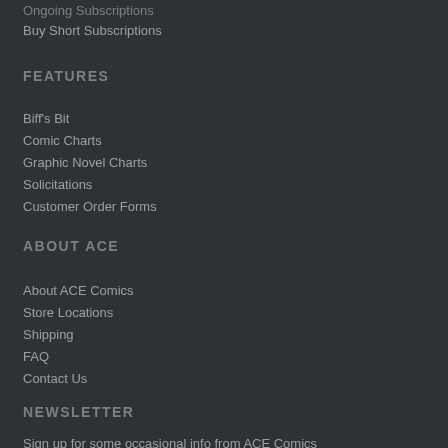Ongoing Subscriptions
Buy Short Subscriptions
FEATURES
Biff's Bit
Comic Charts
Graphic Novel Charts
Solicitations
Customer Order Forms
ABOUT ACE
About ACE Comics
Store Locations
Shipping
FAQ
Contact Us
NEWSLETTER
Sign up for some occasional info from ACE Comics